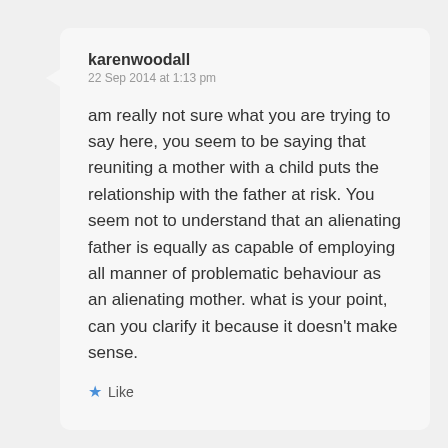[Figure (screenshot): A blog comment bubble from user 'karenwoodall' dated 22 Sep 2014 at 1:13 pm, with comment text and a Like button with star icon.]
karenwoodall
22 Sep 2014 at 1:13 pm

am really not sure what you are trying to say here, you seem to be saying that reuniting a mother with a child puts the relationship with the father at risk. You seem not to understand that an alienating father is equally as capable of employing all manner of problematic behaviour as an alienating mother. what is your point, can you clarify it because it doesn't make sense.

★ Like